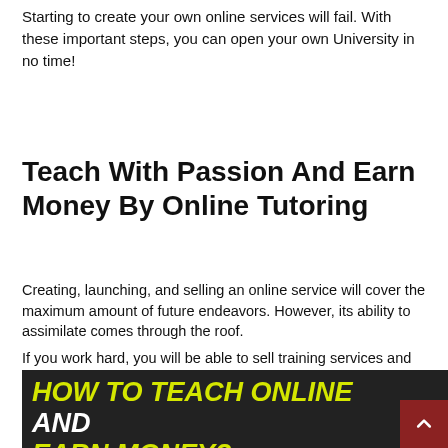Starting to create your own online services will fail. With these important steps, you can open your own University in no time!
Teach With Passion And Earn Money By Online Tutoring
Creating, launching, and selling an online service will cover the maximum amount of future endeavors. However, its ability to assimilate comes through the roof.
If you work hard, you will be able to sell training services and make money for many months and years.
Really $ 5 or $ 1,000? This makes a big difference in the number of people you need to apply to sell your education.
[Figure (screenshot): Dark banner image with bold italic text reading 'HOW TO TEACH ONLINE AND EARN MONEY?' in yellow and white uppercase letters, with a dark red scroll-to-top button in the bottom right corner.]